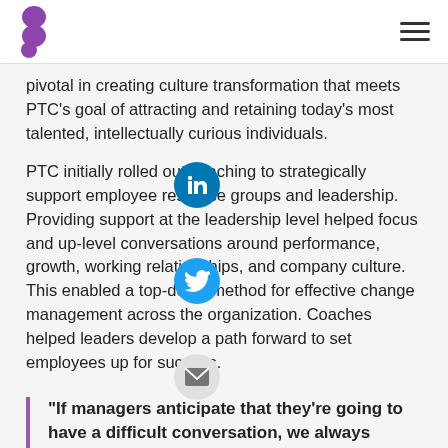Bravely logo and navigation menu
pivotal in creating culture transformation that meets PTC's goal of attracting and retaining today's most talented, intellectually curious individuals.
PTC initially rolled out coaching to strategically support employee resource groups and leadership. Providing support at the leadership level helped focus and up-level conversations around performance, growth, working relationships, and company culture. This enabled a top-down method for effective change management across the organization. Coaches helped leaders develop a path forward to set employees up for success.
“If managers anticipate that they’re going to have a difficult conversation, we always prompt them to go talk to their Bravely coach and roleplay through, get feedback, get some guidance that they can use to